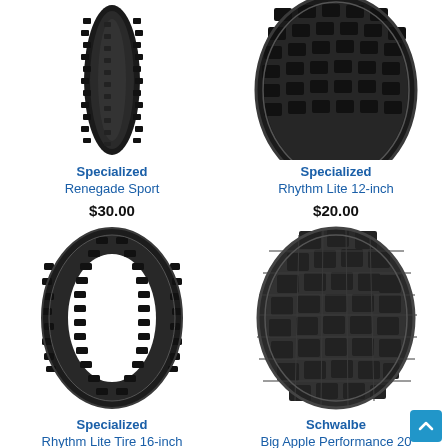[Figure (photo): Specialized Renegade Sport bicycle tire, close-up showing knobby tread pattern, black]
Specialized
Renegade Sport
$30.00
[Figure (photo): Specialized Rhythm Lite 12-inch bicycle tire, close-up showing blocky tread pattern, black]
Specialized
Rhythm Lite 12-inch
$20.00
[Figure (photo): Specialized Rhythm Lite Tire 16-inch bicycle tire, full view showing slick/small knob tread, black]
Specialized
Rhythm Lite Tire 16-inch
[Figure (photo): Schwalbe Big Apple Performance bicycle tire, close-up showing large square tread blocks, dark grey/black]
Schwalbe
Big Apple Performance 20